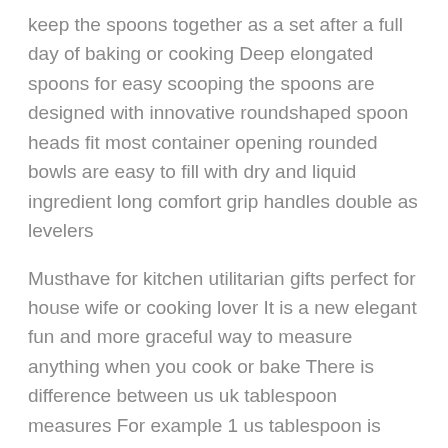keep the spoons together as a set after a full day of baking or cooking Deep elongated spoons for easy scooping the spoons are designed with innovative roundshaped spoon heads fit most container opening rounded bowls are easy to fill with dry and liquid ingredient long comfort grip handles double as levelers
Musthave for kitchen utilitarian gifts perfect for house wife or cooking lover It is a new elegant fun and more graceful way to measure anything when you cook or bake There is difference between us uk tablespoon measures For example 1 us tablespoon is 15ml but 1 uk tablespoon is 20 Perfect spoons or cups for measuring crafted of professional gauge tablespoons includes 11 measuring sizes 18 tsp 14 tsp 12 tsp 1 tsp 12 tbsp 1tbsp 18 cup 14 cup 13 cup 12 cup 1 cup With each measurement conveniently marked on the handle of each spoon ensures the measuring
Stickle resistant easy to use with out any chance...